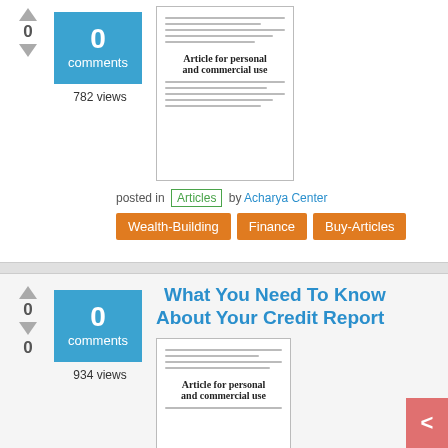[Figure (illustration): Thumbnail preview of article document with lines and bold text 'Article for personal and commercial use']
0 comments
782 views
posted in Articles by Acharya Center
Wealth-Building
Finance
Buy-Articles
What You Need To Know About Your Credit Report
[Figure (illustration): Thumbnail preview of article document with lines and bold text 'Article for personal and commercial use']
0 comments
934 views